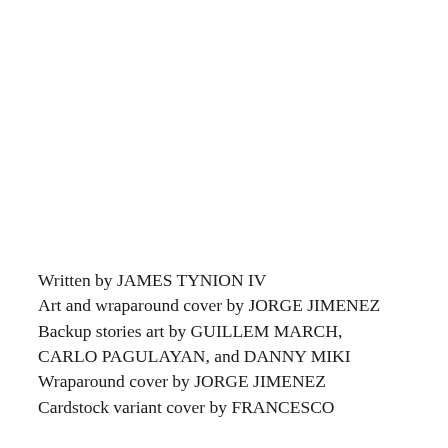Written by JAMES TYNION IV
Art and wraparound cover by JORGE JIMENEZ
Backup stories art by GUILLEM MARCH, CARLO PAGULAYAN, and DANNY MIKI
Wraparound cover by JORGE JIMENEZ
Cardstock variant cover by FRANCESCO